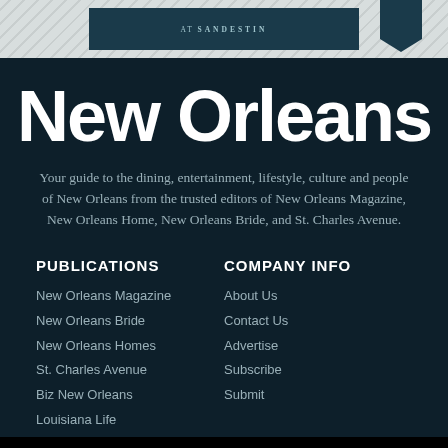[Figure (illustration): Top banner with diagonal striped background, a dark teal rectangular logo element with 'SANDESTIN' text, and a dark teal arrow/bookmark shape on the right]
New Orleans
Your guide to the dining, entertainment, lifestyle, culture and people of New Orleans from the trusted editors of New Orleans Magazine, New Orleans Home, New Orleans Bride, and St. Charles Avenue.
PUBLICATIONS
New Orleans Magazine
New Orleans Bride
New Orleans Homes
St. Charles Avenue
Biz New Orleans
Louisiana Life
COMPANY INFO
About Us
Contact Us
Advertise
Subscribe
Submit